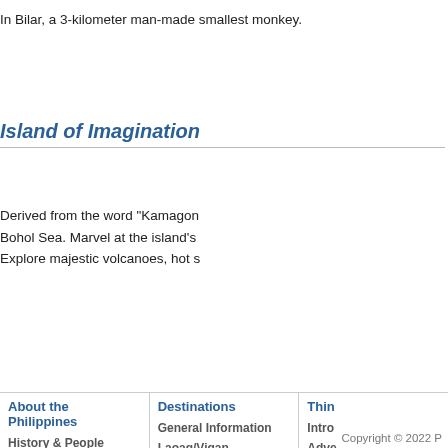In Bilar, a 3-kilometer man-made smallest monkey.
Island of Imagination
Derived from the word "Kamagon Bohol Sea. Marvel at the island's Explore majestic volcanoes, hot s
About the Philippines
History & People
Geography
Climate
Travel Formalities
Accessibility
Arts and Culture
Destinations
General Information
Laoag/Vigan
Baguio/Banaue
Subic/Clark
Metro Manila & Environs
Boracay
Palawan
Cebu/Bohol
Davao
Thin
Intro
Adve
Culin
Divin
Golf
Heal
Med
Heri
M.I.
Nigh
Shop
Volu
Wed
Copyright © 2022 P